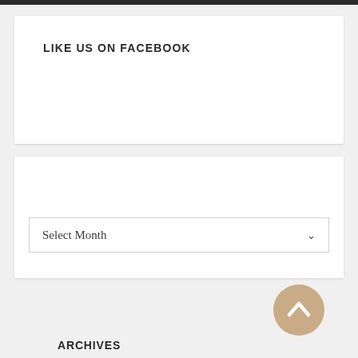LIKE US ON FACEBOOK
ARCHIVES
Select Month
[Figure (other): Scroll-to-top button: circular tan/beige button with upward chevron arrow]